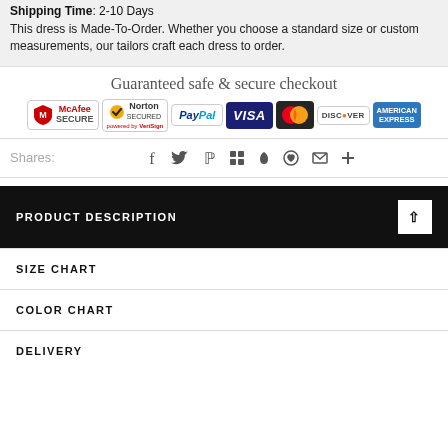Shipping Time: 2-10 Days
This dress is Made-To-Order. Whether you choose a standard size or custom measurements, our tailors craft each dress to order.
[Figure (infographic): Guaranteed safe & secure checkout banner with payment badges: McAfee SECURE, Norton SECURED powered by VeriSign, PayPal, VISA, Mastercard, DISCOVER, AMERICAN EXPRESS]
Shares:
[Figure (infographic): Social sharing icons: Facebook, Twitter, Pinterest, Google+, Fancy, Fancy heart, Email, More(+)]
PRODUCT DESCRIPTION
SIZE CHART
COLOR CHART
DELIVERY